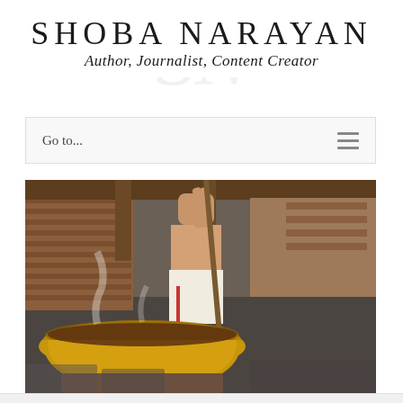SHOBA NARAYAN
Author, Journalist, Content Creator
Go to...
[Figure (photo): A man stirring a large brass cooking pot in what appears to be a temple kitchen. The man is shirtless and wearing a white dhoti, reaching up to stir with a long wooden rod. The background shows wooden shelves or slats on the left, and a spacious kitchen interior with stone flooring.]